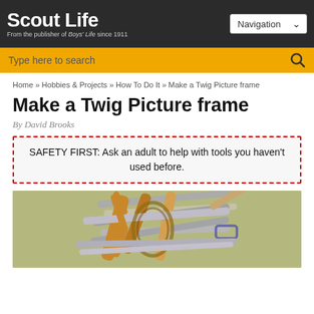Scout Life — From the publisher of Boys' Life since 1911
Type here to search
Home » Hobbies & Projects » How To Do It » Make a Twig Picture frame
Make a Twig Picture frame
By David Brooks
SAFETY FIRST: Ask an adult to help with tools you haven't used before.
[Figure (illustration): Illustration of bundled twigs and sticks tied together, viewed from above at an angle, on a light olive/tan background.]